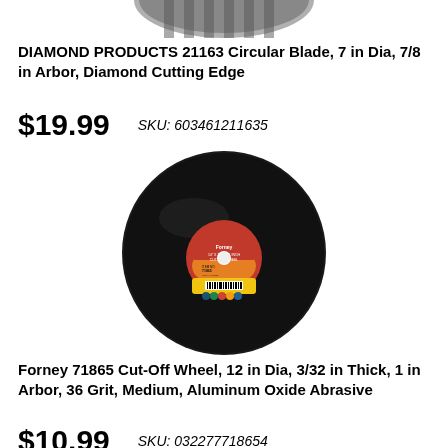[Figure (photo): Partial image of Diamond Products 21163 circular blade (top cropped), showing diamond cutting edge pattern]
DIAMOND PRODUCTS 21163 Circular Blade, 7 in Dia, 7/8 in Arbor, Diamond Cutting Edge
$19.99
SKU: 603461211635
[Figure (photo): Forney brand cut-off wheel, large black abrasive disc with red/yellow label in center showing Forney branding and product details, barcode visible at bottom of label]
Forney 71865 Cut-Off Wheel, 12 in Dia, 3/32 in Thick, 1 in Arbor, 36 Grit, Medium, Aluminum Oxide Abrasive
$10.99
SKU: 032277718654